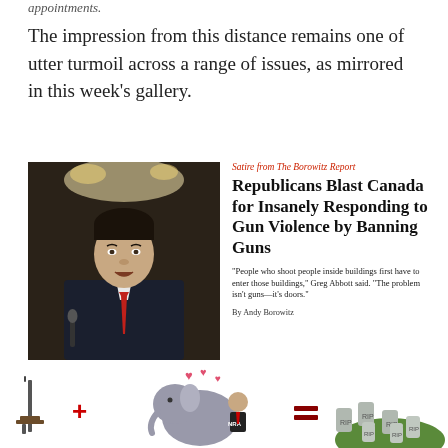appointments.
The impression from this distance remains one of utter turmoil across a range of issues, as mirrored in this week's gallery.
[Figure (photo): Photo of Justin Trudeau at a podium with microphone, wearing a dark suit and red tie, chandeliers in background]
Satire from The Borowitz Report
Republicans Blast Canada for Insanely Responding to Gun Violence by Banning Guns
"People who shoot people inside buildings first have to enter those buildings," Greg Abbott said. "The problem isn't guns—it's doors."
By Andy Borowitz
[Figure (illustration): Political cartoon showing a rifle + Republican elephant embracing NRA figure = graveyard with RIP headstones, suggesting gun violence deaths]